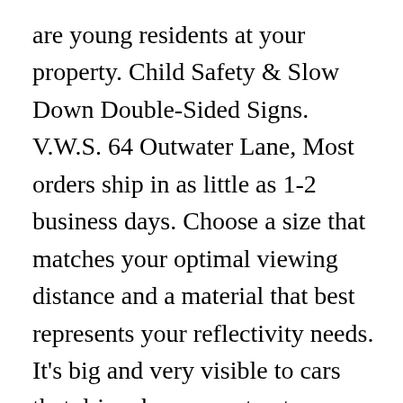are young residents at your property. Child Safety & Slow Down Double-Sided Signs. V.W.S. 64 Outwater Lane, Most orders ship in as little as 1-2 business days. Choose a size that matches your optimal viewing distance and a material that best represents your reflectivity needs. It's big and very visible to cars that drive down my street. Whether at home, camping, or near playgrounds, set up the KidAlert! Shop Slow Down Yard Signs from CafePress. A visual warning system that alerts oncoming motorists when children are at play Fluorescent yellow/green body, with reflector decal and red warning flag, ... Utilise this Slow Children safety sign to communicate this